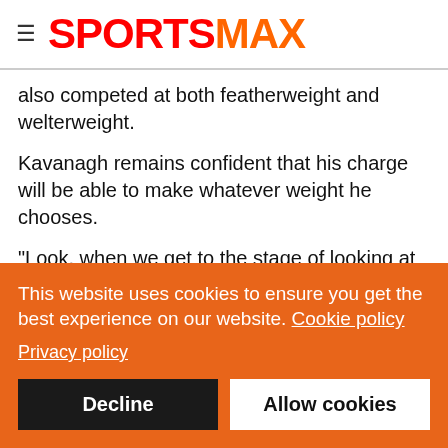SPORTSMAX
also competed at both featherweight and welterweight.
Kavanagh remains confident that his charge will be able to make whatever weight he chooses.
"Look, when we get to the stage of looking at weight classes and opponents there's nobody more professional than Conor at making weight and it will all be done properly," he added.
"When that silverback arm goes around your neck there's a bit of an extra pressure there, so he's very strong at the
This website uses cookies to ensure you get the best experience on our website. Cookie policy
Privacy policy
Decline
Allow cookies